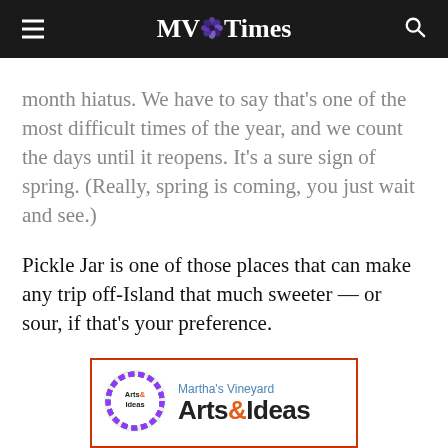MV Times
month hiatus. We have to say that's one of the most difficult times of the year, and we count the days until it reopens. It's a sure sign of spring. (Really, spring is coming, you just wait and see.)

Pickle Jar is one of those places that can make any trip off-Island that much sweeter — or sour, if that's your preference.
[Figure (logo): Martha's Vineyard Arts & Ideas advertisement banner with colorful circular logo]